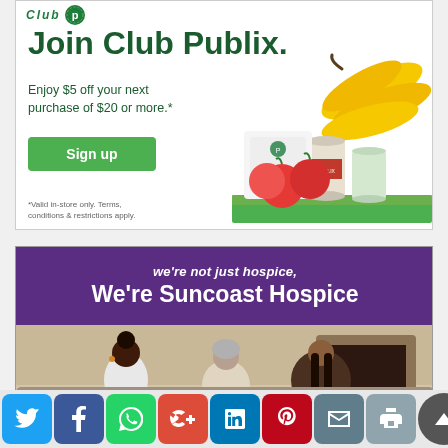[Figure (illustration): Club Publix advertisement: 'Join Club Publix. Enjoy $5 off your next purchase of $20 or more.*' with a green Sign up button, grocery product images (bananas, tomatoes, canned goods), and fine print '*Valid in-store only. Terms, conditions & restrictions apply.']
[Figure (photo): Suncoast Hospice advertisement with purple header text 'we're not just hospice, We're Suncoast Hospice' and a photo of three people (two women and a caregiver) sitting together.]
[Figure (infographic): Social media share buttons row: Twitter (blue), Facebook (dark blue), WhatsApp (green), Google+ (red), LinkedIn (blue), Pinterest (red), Email (blue-gray), Print (gray), and a scroll-to-top button (dark gray).]